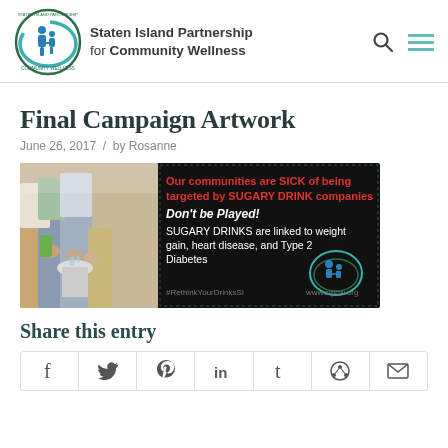Staten Island Partnership for Community Wellness
Final Campaign Artwork
June 26, 2017 / by Rosanne
[Figure (photo): Campaign advertisement image showing people at a fountain with text: 'Our communities are SICK of being targeted by SUGARY DRINK companies. Don't be Played! SUGARY DRINKS are linked to weight gain, heart disease, and Type 2 Diabetes. #RethinkYourDrinksSI www.sipcw.org']
Share this entry
| f | t (Twitter) | P (Pinterest) | in | t (Tumblr) | share | mail |
| --- | --- | --- | --- | --- | --- | --- |
|  |